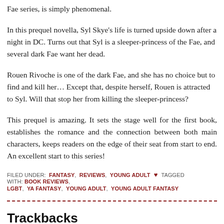Fae series, is simply phenomenal.
In this prequel novella, Syl Skye's life is turned upside down after a night in DC. Turns out that Syl is a sleeper-princess of the Fae, and several dark Fae want her dead.
Rouen Rivoche is one of the dark Fae, and she has no choice but to find and kill her… Except that, despite herself, Rouen is attracted to Syl. Will that stop her from killing the sleeper-princess?
This prequel is amazing. It sets the stage well for the first book, establishes the romance and the connection between both main characters, keeps readers on the edge of their seat from start to end. An excellent start to this series!
FILED UNDER: FANTASY, REVIEWS, YOUNG ADULT • TAGGED WITH: BOOK REVIEWS, LGBT, YA FANTASY, YOUNG ADULT, YOUNG ADULT FANTASY
Trackbacks